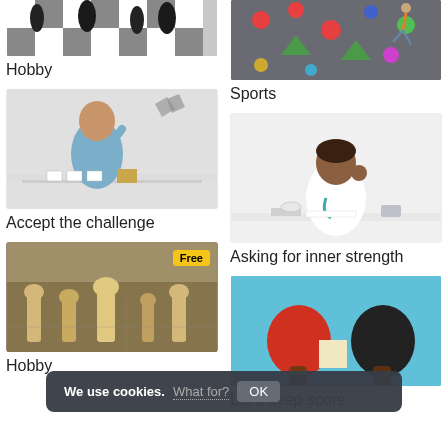[Figure (photo): Chess board with black pieces, top cropped]
Hobby
[Figure (photo): Rock climbing wall with colorful holds and a climber]
Sports
[Figure (photo): Man in blue shirt at a table with cards and objects, gesturing]
Accept the challenge
[Figure (photo): Female doctor in white coat sitting at desk looking stressed]
Asking for inner strength
[Figure (photo): Chess pieces on board, Free badge overlay]
Hobby
[Figure (photo): Table tennis paddles and ball on blue background]
Let's keep score
We use cookies. What for? OK